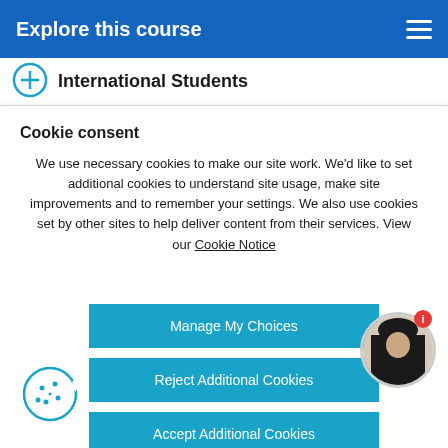Explore this course
International Students
Cookie consent
We use necessary cookies to make our site work. We'd like to set additional cookies to understand site usage, make site improvements and to remember your settings. We also use cookies set by other sites to help deliver content from their services. View our Cookie Notice
Manage My Choices
Reject Additional Cookies
Accept Additional Cookies
[Figure (illustration): Cookie consent icon — cookie with dots, bottom-left]
[Figure (photo): Circular avatar photo of a person wearing a hijab, bottom-right, with red notification badge showing 'i']